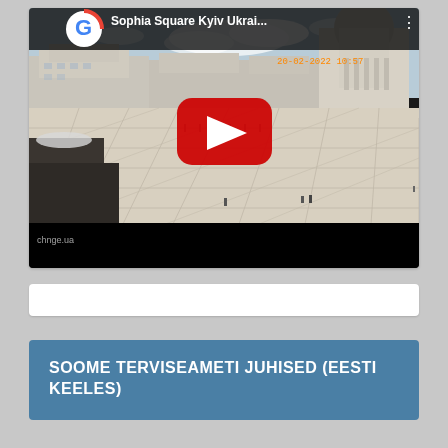[Figure (screenshot): YouTube video embed showing Sophia Square Kyiv Ukraine webcam footage dated 20-02-2022 10:57, with Google logo watermark, red YouTube play button overlay, and black bottom bar. The square is mostly empty with a few pedestrians visible.]
[Figure (screenshot): A thin white/grey bar element, likely a UI control or loading bar]
SOOME TERVISEAMETI JUHISED (EESTI KEELES)